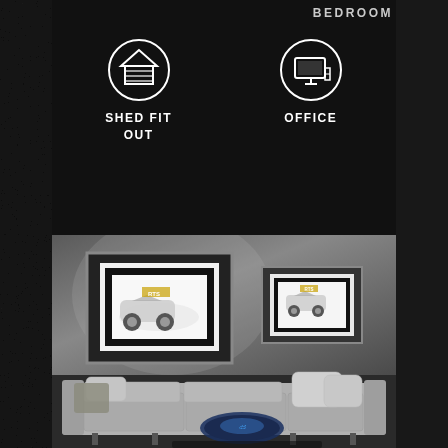BEDROOM
[Figure (illustration): Circular icon with garage/shed symbol]
SHED FIT OUT
[Figure (illustration): Circular icon with office/monitor symbol]
OFFICE
[Figure (photo): Living room wall with two framed car art prints above a grey sofa with cushions and a decorative blanket]